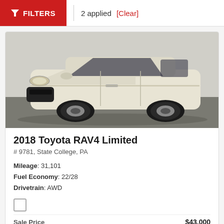FILTERS | 2 applied [Clear]
[Figure (photo): White 2018 Toyota RAV4 Limited SUV photographed in a parking lot from a front-right angle, showing the front grille, headlights, and right side profile.]
2018 Toyota RAV4 Limited
# 9781, State College, PA
Mileage: 31,101
Fuel Economy: 22/28
Drivetrain: AWD
Sale Price $43,000